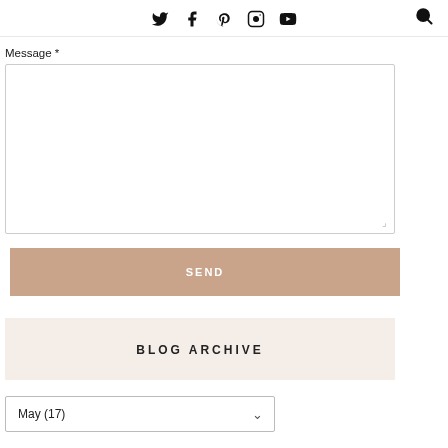Social icons: Twitter, Facebook, Pinterest, Instagram, YouTube; Search icon
Message *
[Figure (other): Message textarea input box]
SEND
BLOG ARCHIVE
May (17)